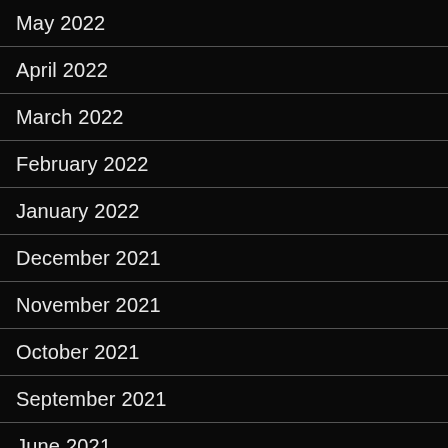May 2022
April 2022
March 2022
February 2022
January 2022
December 2021
November 2021
October 2021
September 2021
June 2021
May 2021
April 2021
January 2021